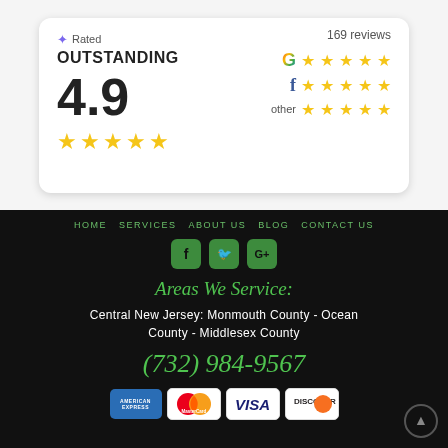[Figure (infographic): Rating card showing 4.9 outstanding score with 169 reviews, Google, Facebook, and other platform star ratings]
HOME   SERVICES   ABOUT US   BLOG   CONTACT US
[Figure (infographic): Social media icons: Facebook, Twitter, Google+]
Areas We Service:
Central New Jersey: Monmouth County - Ocean County - Middlesex County
(732) 984-9567
[Figure (infographic): Payment method icons: American Express, Mastercard, Visa, Discover]